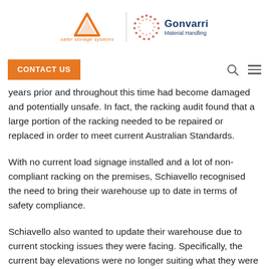safer storage systems | Gonvarri Material Handling
CONTACT US
years prior and throughout this time had become damaged and potentially unsafe. In fact, the racking audit found that a large portion of the racking needed to be repaired or replaced in order to meet current Australian Standards.
With no current load signage installed and a lot of non-compliant racking on the premises, Schiavello recognised the need to bring their warehouse up to date in terms of safety compliance.
Schiavello also wanted to update their warehouse due to current stocking issues they were facing. Specifically, the current bay elevations were no longer suiting what they were storing due to new furniture